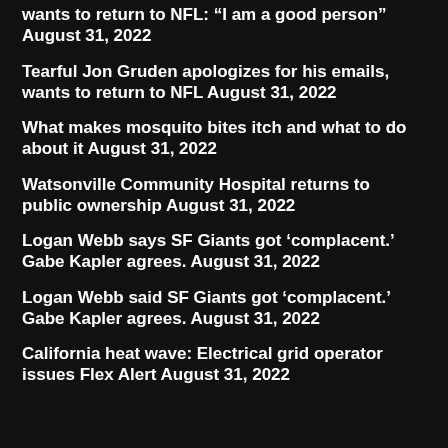wants to return to NFL: “I am a good person” August 31, 2022
Tearful Jon Gruden apologizes for his emails, wants to return to NFL August 31, 2022
What makes mosquito bites itch and what to do about it August 31, 2022
Watsonville Community Hospital returns to public ownership August 31, 2022
Logan Webb says SF Giants got ‘complacent.’ Gabe Kapler agrees. August 31, 2022
Logan Webb said SF Giants got ‘complacent.’ Gabe Kapler agrees. August 31, 2022
California heat wave: Electrical grid operator issues Flex Alert August 31, 2022